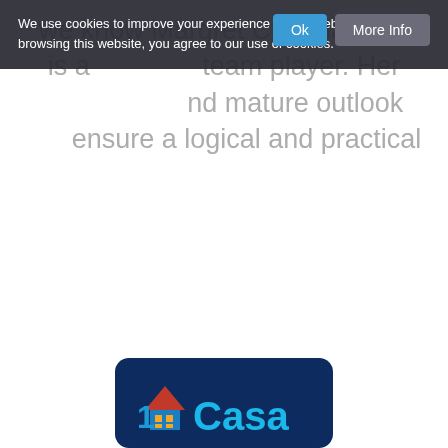we know Margret Canada. She is a team player. Her thoughtful and mature outlook ensure a logical and practical approach to her endeavours. She is extremely helpful at all times. Sabrina is an asset to any organisation, and we are happy to give her our wholehearted endorsement. With kind regards Richard and Lucienne Milne "
[Figure (logo): 1Casa logo: dark navy rounded rectangle with a house icon (red roof, orange windows) and the text '1Casa' in blue and cyan]
David Nolan
" Sabrina has lived with us on a couple of